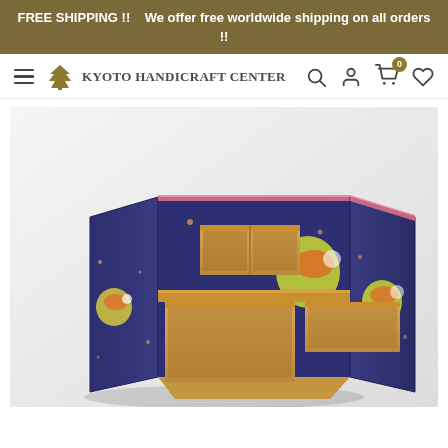FREE SHIPPING !!    We offer free worldwide shipping on all orders !!
[Figure (logo): Kyoto Handicraft Center logo with stylized green tree and text]
[Figure (photo): Open cardboard organizer/desk box with navy blue exterior printed with colorful bird (chick) and star patterns, showing multiple inner compartments made of tan cardboard]